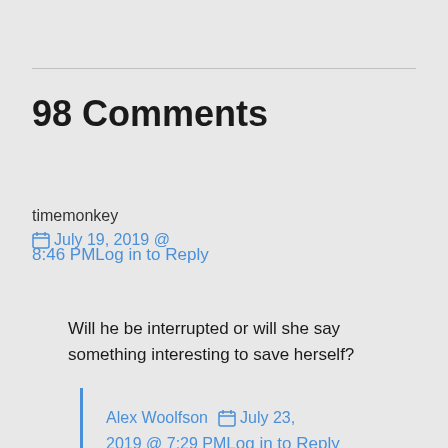98 Comments
timemonkey   July 19, 2019 @
8:46 PMLog in to Reply
Will he be interrupted or will she say something interesting to save herself?
Alex Woolfson   July 23,
2019 @ 7:29 PMLog in to Reply